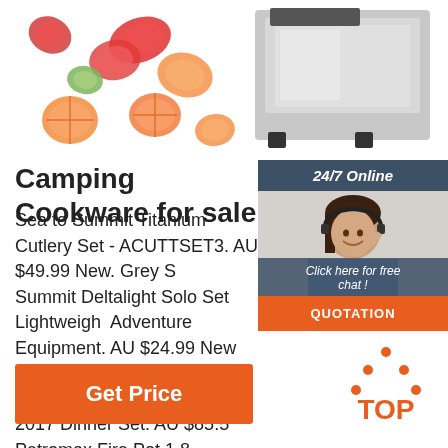[Figure (photo): Top banner with vegetable slices (tomatoes, cucumbers, peppers) on left and a commercial food chopper/slicer machine on right]
[Figure (infographic): 24/7 Online chat widget with a woman wearing a headset, text 'Click here for free chat!' and an orange QUOTATION button]
Camping Cookware for sale
Sea to Summit Titanium Cutlery Set - ACUTTSET3. AU $49.99 New. Grey Sea to Summit Deltalight Solo Set Lightweight Adventure Equipment. AU $24.99 New. Petromax Kettle Dishes Stainless Steel Liter Silver 2017 Dinner Set. AU $85.5. Petromax Fire Pot 1 8 ...
Get Price
[Figure (logo): TOP logo with orange dots forming a triangle above the word TOP in orange]